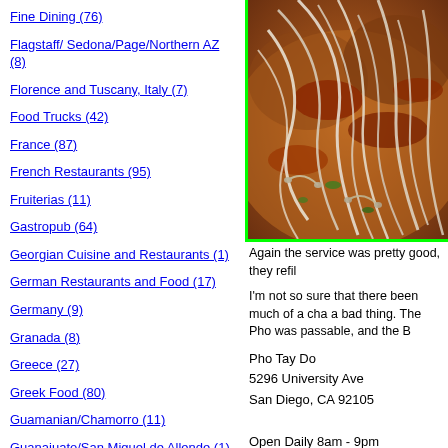Fine Dining (76)
Flagstaff/ Sedona/Page/Northern AZ (8)
Florence and Tuscany, Italy (7)
Food Trucks (42)
France (87)
French Restaurants (95)
Fruiterias (11)
Gastropub (64)
Georgian Cuisine and Restaurants (1)
German Restaurants and Food (17)
Germany (9)
Granada (8)
Greece (27)
Greek Food (80)
Guamanian/Chamorro (11)
Guanajuato/San Miguel de Allende (1)
Guatemala (12)
[Figure (photo): Close-up photo of pho soup with rice noodles, bean sprouts, meat and broth, bordered in bright green]
Again the service was pretty good, they refil
I'm not so sure that there been much of a cha a bad thing. The Pho was passable, and the B
Pho Tay Do
5296 University Ave
San Diego, CA 92105

Open Daily 8am - 9pm
Kirk K on Monday, 26 July 2010 in Pho | Permalink